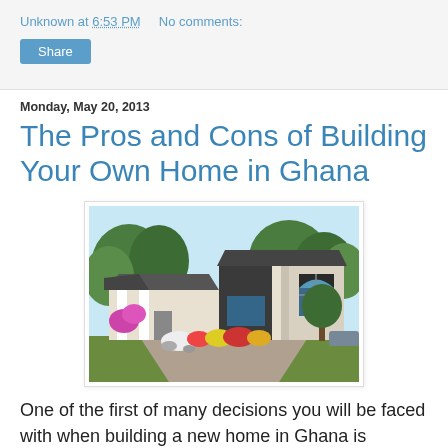Unknown at 6:53 PM    No comments:
Share
Monday, May 20, 2013
The Pros and Cons of Building Your Own Home in Ghana
[Figure (photo): Architectural rendering of a modern Ghanaian home with cream and dark grey exterior, large arched window, colorful flowering plants in the garden, and trees in the background.]
One of the first of many decisions you will be faced with when building a new home in Ghana is whether to do it yourself or hire a general contractor. There are advantages